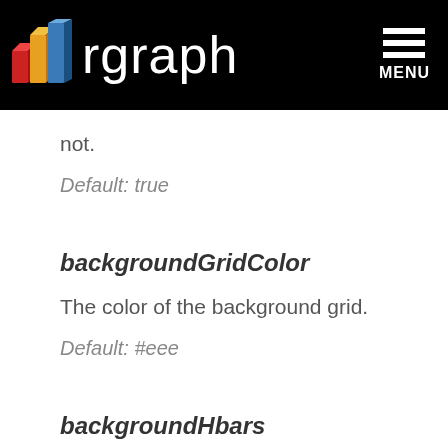rgraph MENU
not.
Default: true
backgroundGridColor
The color of the background grid.
Default: #eee
backgroundHbars
An array of information stipulating